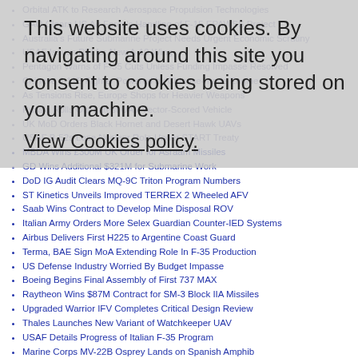Orbital ATK to Research Aerospace Propulsion Technologies
GAO Clears US Air Force's Handling of F-15 EPAWSS Project
Australia's Future Submarine Project Needs Urgent Economic Scrutiny
USAF Issues RFI for New A-10 Wing
Pentagon Warns of F-35 Cuts Unless Funding Impasse Resolved
Chinese J-11B Fighter Powered by Chinese-made Engine
As Tensions Rise, Europe Shops for Heavier Weapons
Russia Rolls Out Latest UAV Vector-Scored Vehicle
UK MoD Orders Black Hornet and Desert Hawk UAVs
USAF B-52s Lose Nuclear Role Under START Treaty
MBDA Wins £300M UK Order for Asraam Missiles
GD Wins Additional $321M for Submarine Work
DoD IG Audit Clears MQ-9C Triton Program Numbers
ST Kinetics Unveils Improved TERREX 2 Wheeled AFV
Saab Wins Contract to Develop Mine Disposal ROV
Italian Army Orders More Selex Guardian Counter-IED Systems
Airbus Delivers First H225 to Argentine Coast Guard
Terma, BAE Sign MoA Extending Role In F-35 Production
US Defense Industry Worried By Budget Impasse
Boeing Begins Final Assembly of First 737 MAX
Raytheon Wins $87M Contract for SM-3 Block IIA Missiles
Upgraded Warrior IFV Completes Critical Design Review
Thales Launches New Variant of Watchkeeper UAV
USAF Details Progress of Italian F-35 Program
Marine Corps MV-22B Osprey Lands on Spanish Amphib
Russian Engine to Power MS-21 By 2018: Rostec